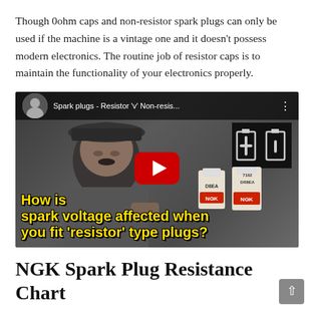Though 0ohm caps and non-resistor spark plugs can only be used if the machine is a vintage one and it doesn't possess modern electronics. The routine job of resistor caps is to maintain the functionality of your electronics properly.
[Figure (screenshot): YouTube video thumbnail showing a mechanic holding two NGK spark plugs. Video title reads 'Spark plugs - Resistor 'v' Non-resis...' with text overlay 'How is spark voltage affected when you fit 'resistor' type plugs?' in yellow bold font. A red YouTube play button is centered on the image.]
NGK Spark Plug Resistance Chart